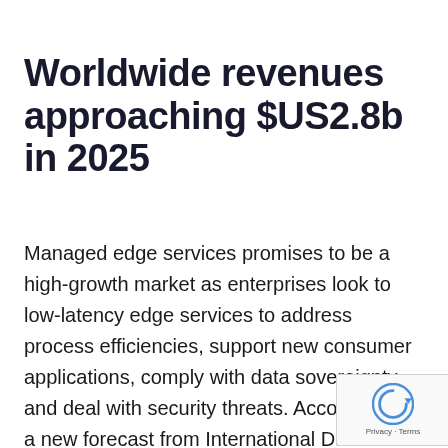Worldwide revenues approaching $US2.8b in 2025
Managed edge services promises to be a high-growth market as enterprises look to low-latency edge services to address process efficiencies, support new consumer applications, comply with data sovereignty, and deal with security threats. According to a new forecast from International Data Corporation (IDC), worldwide revenues for managed edge services will reach $US445.3 million in 2021, an increase of 43.5 per cent over